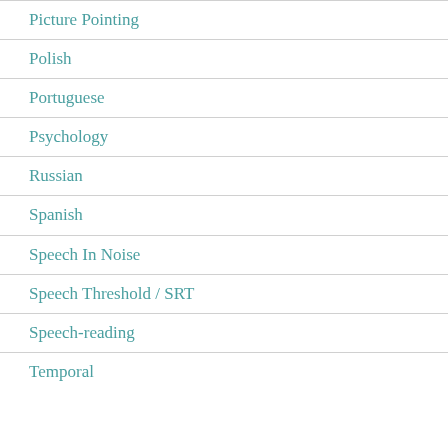Picture Pointing
Polish
Portuguese
Psychology
Russian
Spanish
Speech In Noise
Speech Threshold / SRT
Speech-reading
Temporal